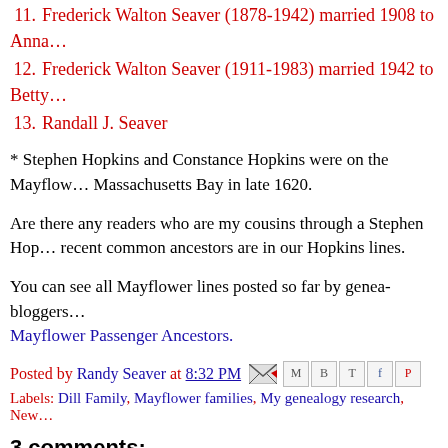11. Frederick Walton Seaver (1878-1942) married 1908 to Anna...
12. Frederick Walton Seaver (1911-1983) married 1942 to Betty...
13. Randall J. Seaver
* Stephen Hopkins and Constance Hopkins were on the Mayflower... Massachusetts Bay in late 1620.
Are there any readers who are my cousins through a Stephen Hopkins line? If so, our most recent common ancestors are in our Hopkins lines.
You can see all Mayflower lines posted so far by genea-bloggers... Mayflower Passenger Ancestors.
Posted by Randy Seaver at 8:32 PM
Labels: Dill Family, Mayflower families, My genealogy research, New...
3 comments:
T said...
Me again. Stephen Hopkins > Damaris Hopkins > Francis Cook > Manasseh Cook > Harriet Newell Cook > Albert Lafayette Ward...